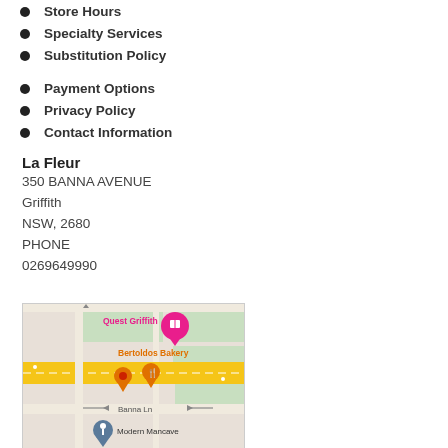Store Hours
Specialty Services
Substitution Policy
Payment Options
Privacy Policy
Contact Information
La Fleur
350 BANNA AVENUE
Griffith
NSW, 2680
PHONE
0269649990
[Figure (map): Google Maps screenshot showing Quest Griffith, Bertoldos Bakery, and Modern Mancave near Banna Avenue / Banna Lane, Griffith NSW]